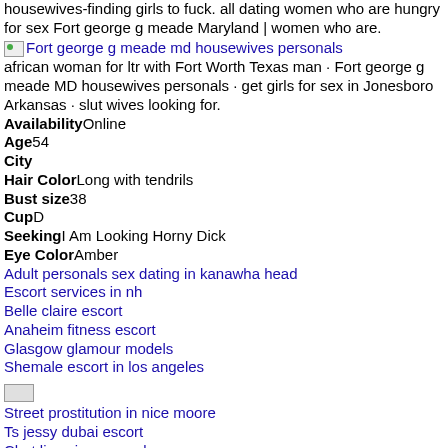housewives-finding girls to fuck. all dating women who are hungry for sex Fort george g meade Maryland | women who are.
Fort george g meade md housewives personals
african woman for ltr with Fort Worth Texas man · Fort george g meade MD housewives personals · get girls for sex in Jonesboro Arkansas · slut wives looking for.
AvailabilityOnline
Age54
City
Hair ColorLong with tendrils
Bust size38
CupD
SeekingI Am Looking Horny Dick
Eye ColorAmber
Adult personals sex dating in kanawha head
Escort services in nh
Belle claire escort
Anaheim fitness escort
Glasgow glamour models
Shemale escort in los angeles
Street prostitution in nice moore
Ts jessy dubai escort
Chat lines in new york
Seeking a sandy utah side girl
Geelong park escorts
Adelaide escort